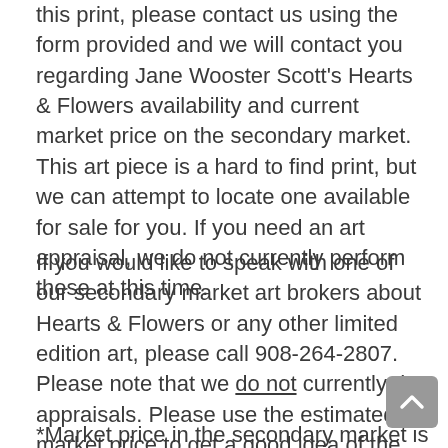this print, please contact us using the form provided and we will contact you regarding Jane Wooster Scott's Hearts & Flowers availability and current market price on the secondary market. This art piece is a hard to find print, but we can attempt to locate one available for sale for you. If you need an art appraisal, we do not currently perform these at this time.
If you would like to speak with one of our secondary market art brokers about Hearts & Flowers or any other limited edition art, please call 908-264-2807. Please note that we do not currently do appraisals. Please use the estimated market price to get a good idea of the limited edition print of Hearts & Flowers's current value. An image is provided only if we have access to one from a gallery and all images and photos are copyright by their respective copyright holders.
*Market price in the secondary market is highly volatile.